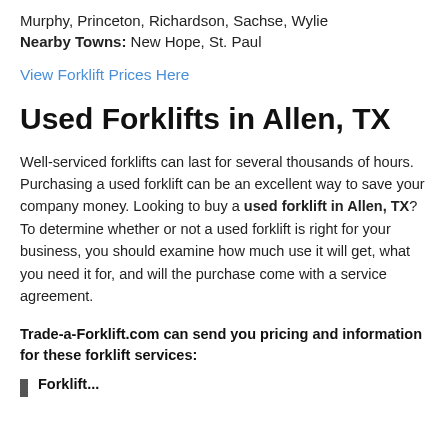Murphy, Princeton, Richardson, Sachse, Wylie
Nearby Towns: New Hope, St. Paul
View Forklift Prices Here
Used Forklifts in Allen, TX
Well-serviced forklifts can last for several thousands of hours. Purchasing a used forklift can be an excellent way to save your company money. Looking to buy a used forklift in Allen, TX? To determine whether or not a used forklift is right for your business, you should examine how much use it will get, what you need it for, and will the purchase come with a service agreement.
Trade-a-Forklift.com can send you pricing and information for these forklift services:
Forklift...